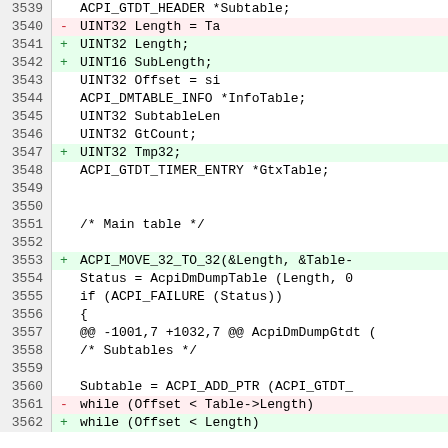[Figure (screenshot): Code diff view showing lines 3539-3562 of a C source file with line numbers, addition/deletion markers, and syntax-highlighted code. Red-highlighted lines indicate deletions, green-highlighted lines indicate additions.]